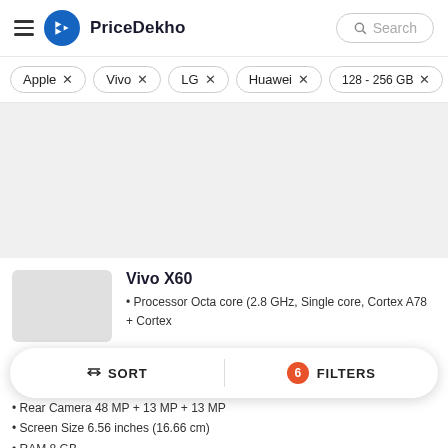PriceDekho
Apple ×
Vivo ×
LG ×
Huawei ×
128 - 256 GB ×
[Figure (other): Advertisement banner placeholder (gray area)]
Vivo X60
• Processor Octa core (2.8 GHz, Single core, Cortex A78 + Cortex
• Rear Camera 48 MP + 13 MP + 13 MP
• Screen Size 6.56 inches (16.66 cm)
• RAM 8 GB